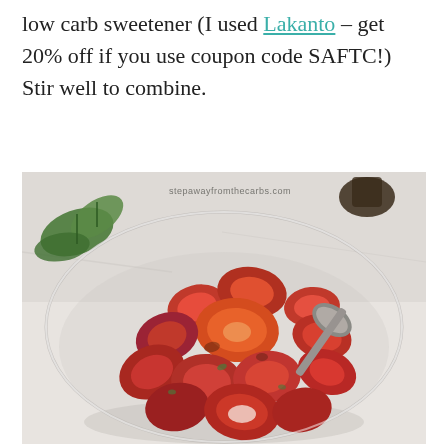low carb sweetener (I used Lakanto – get 20% off if you use coupon code SAFTC!) Stir well to combine.
[Figure (photo): A glass bowl filled with sliced strawberries being stirred with a spoon. Green mint leaves and a dark bottle visible in the background. Watermark reads 'stepawayfromthecarbs.com'.]